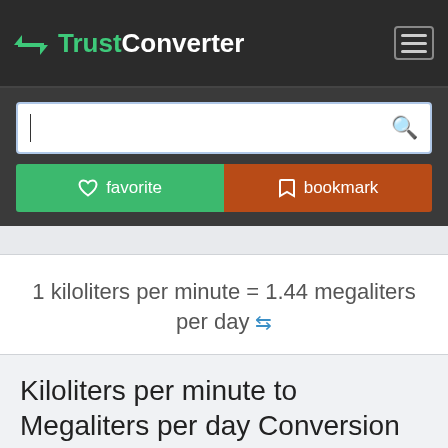TrustConverter
1 kiloliters per minute = 1.44 megaliters per day ⇌
Kiloliters per minute to Megaliters per day Conversion
Kiloliter per minute to megaliter per day conversion allow you